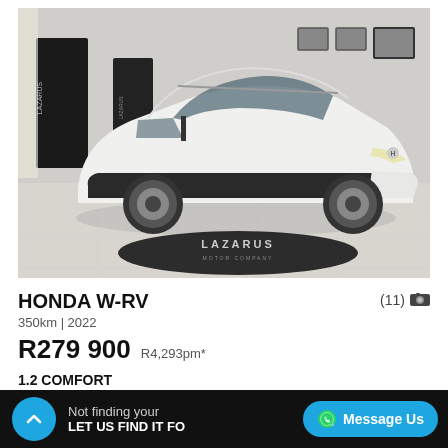[Figure (photo): White Honda W-RV SUV parked inside a car dealership showroom. The showroom has a shiny tiled floor, framed pictures on the walls, and a dark branded mat reading 'LAZARUS MOTOR COMPANY' on the floor in front of the vehicle. Lazarus Motor Company branding banners are visible in the background.]
HONDA W-RV
350km | 2022
R279 900   R4,293pm*
1.2 COMFORT
(11) [camera icon]
Not finding your... LET US FIND IT FO...
Message Us